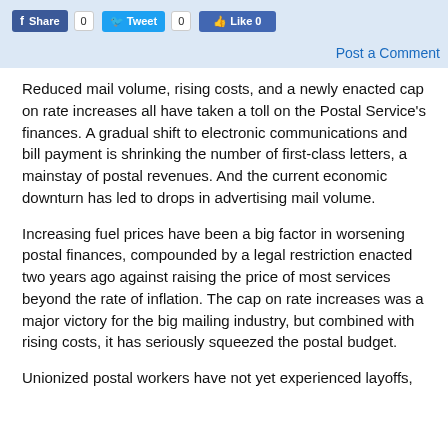Share 0  Tweet 0  Like 0
Post a Comment
Reduced mail volume, rising costs, and a newly enacted cap on rate increases all have taken a toll on the Postal Service's finances. A gradual shift to electronic communications and bill payment is shrinking the number of first-class letters, a mainstay of postal revenues. And the current economic downturn has led to drops in advertising mail volume.
Increasing fuel prices have been a big factor in worsening postal finances, compounded by a legal restriction enacted two years ago against raising the price of most services beyond the rate of inflation. The cap on rate increases was a major victory for the big mailing industry, but combined with rising costs, it has seriously squeezed the postal budget.
Unionized postal workers have not yet experienced layoffs,